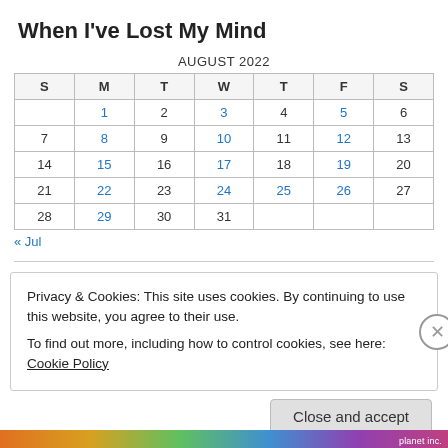When I've Lost My Mind
| S | M | T | W | T | F | S |
| --- | --- | --- | --- | --- | --- | --- |
|  | 1 | 2 | 3 | 4 | 5 | 6 |
| 7 | 8 | 9 | 10 | 11 | 12 | 13 |
| 14 | 15 | 16 | 17 | 18 | 19 | 20 |
| 21 | 22 | 23 | 24 | 25 | 26 | 27 |
| 28 | 29 | 30 | 31 |  |  |  |
« Jul
Privacy & Cookies: This site uses cookies. By continuing to use this website, you agree to their use.
To find out more, including how to control cookies, see here: Cookie Policy